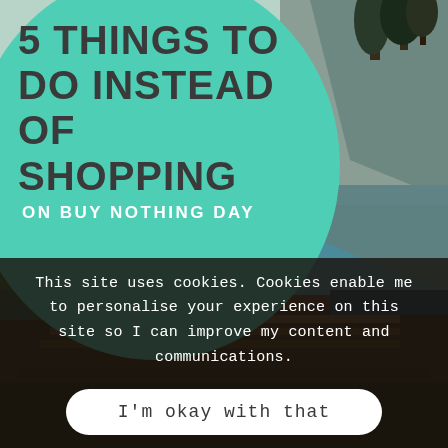[Figure (photo): Nature/lake landscape photo with mountain cliffs, water reflection, and trees — used as full background image]
5 THINGS TO DO INSTEAD OF SHOPPING
ON BUY NOTHING DAY
This site uses cookies. Cookies enable me to personalise your experience on this site so I can improve my content and communications.
I'm okay with that